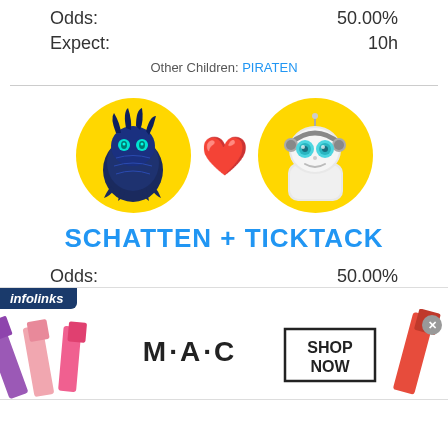Odds: 50.00%
Expect: 10h
Other Children: PIRATEN
[Figure (illustration): Two creature avatars on yellow circular backgrounds with a red heart between them. Left: dark blue dragon creature. Right: white robot/pet creature. Both on yellow circles.]
SCHATTEN + TICKTACK
Odds: 50.00%
Expect: 10h
Other Children: OBSIDIAN
[Figure (screenshot): Infolinks advertisement banner showing MAC cosmetics lipsticks with text SHOP NOW]